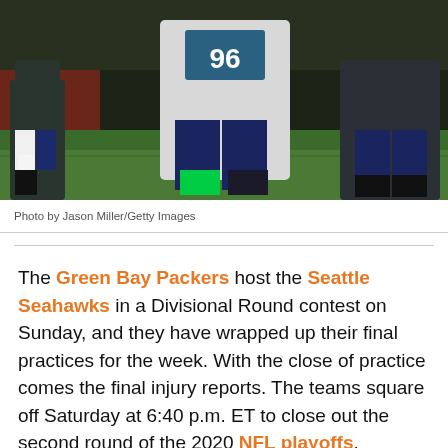[Figure (photo): Seattle Seahawks players in football stances on the field, wearing navy blue and grey uniforms. Players are in a line of scrimmage position on green grass turf.]
Photo by Jason Miller/Getty Images
The Green Bay Packers host the Seattle Seahawks in a Divisional Round contest on Sunday, and they have wrapped up their final practices for the week. With the close of practice comes the final injury reports. The teams square off Saturday at 6:40 p.m. ET to close out the second round of the 2020 NFL playoffs.